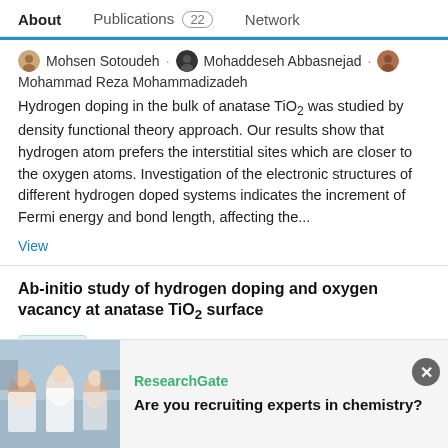About   Publications 22   Network
Mohsen Sotoudeh · Mohaddeseh Abbasnejad · Mohammad Reza Mohammadizadeh
Hydrogen doping in the bulk of anatase TiO2 was studied by density functional theory approach. Our results show that hydrogen atom prefers the interstitial sites which are closer to the oxygen atoms. Investigation of the electronic structures of different hydrogen doped systems indicates the increment of Fermi energy and bond length, affecting the...
View
Ab-initio study of hydrogen doping and oxygen vacancy at anatase TiO2 surface
Article
Jan 2014   Advertisement
[Figure (photo): Advertisement photo of people in a lab setting, ResearchGate recruitment ad]
ResearchGate
Are you recruiting experts in chemistry?